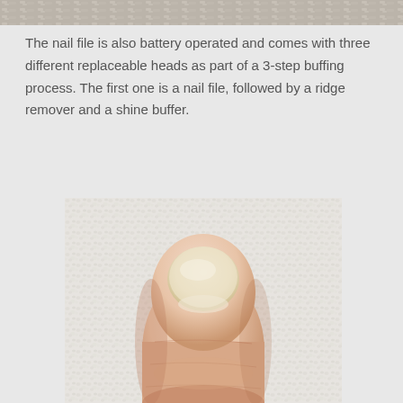[Figure (photo): Top portion of a product photo showing a nail file or buffing device, partially cropped at the top of the page]
The nail file is also battery operated and comes with three different replaceable heads as part of a 3-step buffing process. The first one is a nail file, followed by a ridge remover and a shine buffer.
[Figure (photo): A close-up photo of a human thumb with an unpainted fingernail against a white textured background]